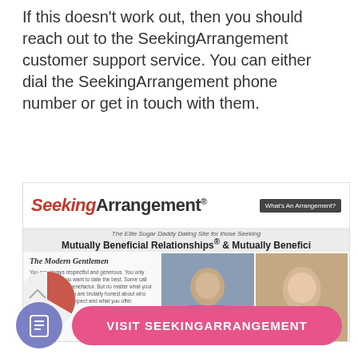If this doesn't work out, then you should reach out to the SeekingArrangement customer support service. You can either dial the SeekingArrangement phone number or get in touch with them.
[Figure (screenshot): Screenshot of SeekingArrangement website showing logo, tagline 'The Elite Sugar Daddy Dating Site for those Seeking Mutually Beneficial Relationships & Mutually Benefici', a left panel with 'The Modern Gentlemen' text and a 31% pie chart, two photos of a man and a woman, a 'Click Here To Join For Free' red button, and a dark button.]
[Figure (other): Pink rounded button with text 'VISIT SEEKINGARRANGEMENT' and a purple circle icon with a document symbol]